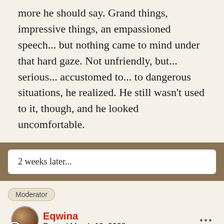more he should say. Grand things, impressive things, an empassioned speech... but nothing came to mind under that hard gaze. Not unfriendly, but... serious... accustomed to... to dangerous situations, he realized. He still wasn't used to it, though, and he looked uncomfortable.
2 weeks later...
Moderator
Eqwina
Posted March 10, 2008
Thera released the arms of his chair and handed him the tablet of systen. She could tell that Tana was...